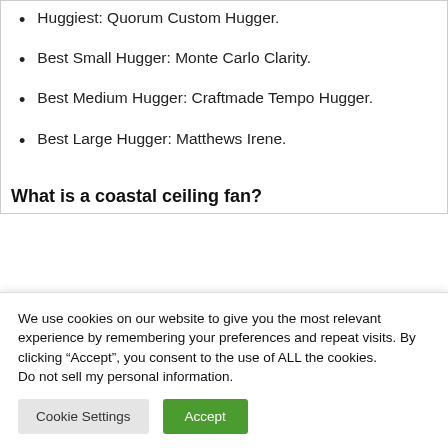Huggiest: Quorum Custom Hugger.
Best Small Hugger: Monte Carlo Clarity.
Best Medium Hugger: Craftmade Tempo Hugger.
Best Large Hugger: Matthews Irene.
What is a coastal ceiling fan?
We use cookies on our website to give you the most relevant experience by remembering your preferences and repeat visits. By clicking “Accept”, you consent to the use of ALL the cookies.
Do not sell my personal information.